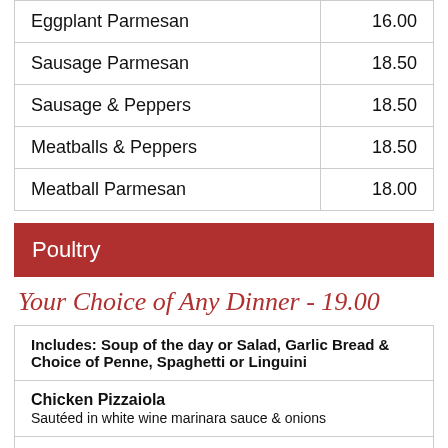| Item | Price |
| --- | --- |
| Eggplant Parmesan | 16.00 |
| Sausage Parmesan | 18.50 |
| Sausage & Peppers | 18.50 |
| Meatballs & Peppers | 18.50 |
| Meatball Parmesan | 18.00 |
Poultry
Your Choice of Any Dinner - 19.00
| Includes / Items |
| --- |
| Includes: Soup of the day or Salad, Garlic Bread & Choice of Penne, Spaghetti or Linguini |
| Chicken Pizzaiola
Sautéed in white wine marinara sauce & onions |
| Chicken Cacciatore |